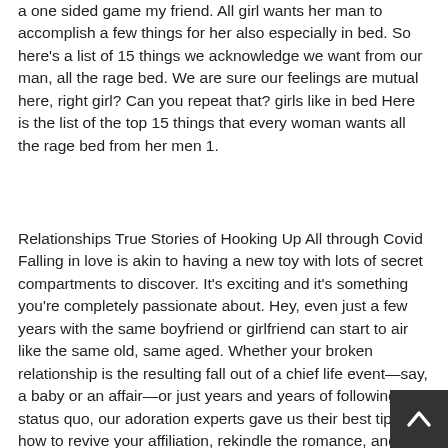a one sided game my friend. All girl wants her man to accomplish a few things for her also especially in bed. So here's a list of 15 things we acknowledge we want from our man, all the rage bed. We are sure our feelings are mutual here, right girl? Can you repeat that? girls like in bed Here is the list of the top 15 things that every woman wants all the rage bed from her men 1.
Relationships True Stories of Hooking Up All through Covid Falling in love is akin to having a new toy with lots of secret compartments to discover. It's exciting and it's something you're completely passionate about. Hey, even just a few years with the same boyfriend or girlfriend can start to air like the same old, same aged. Whether your broken relationship is the resulting fall out of a chief life event—say, a baby or an affair—or just years and years of following the status quo, our adoration experts gave us their best tips on how to revive your affiliation, rekindle the romance, and fall all the rage love all over again. And, accept as true it or not, they may constant work if you have your sights set on mending things with an ex!